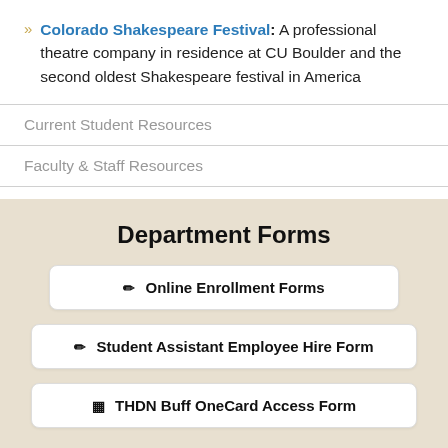Colorado Shakespeare Festival: A professional theatre company in residence at CU Boulder and the second oldest Shakespeare festival in America
Current Student Resources
Faculty & Staff Resources
Department Forms
Online Enrollment Forms
Student Assistant Employee Hire Form
THDN Buff OneCard Access Form